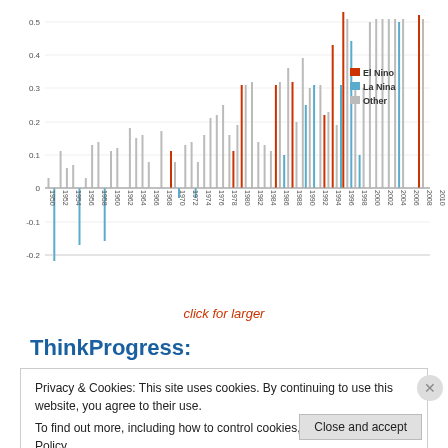[Figure (grouped-bar-chart): Temperature anomaly by ENSO phase]
click for larger
ThinkProgress:
Privacy & Cookies: This site uses cookies. By continuing to use this website, you agree to their use.
To find out more, including how to control cookies, see here: Cookie Policy